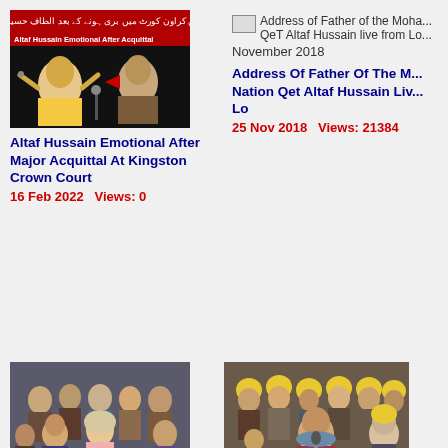[Figure (screenshot): Video thumbnail: Altaf Hussain Emotional After Acquittal - two men, Urdu text overlay on dark background]
Altaf Hussain Emotional After Major Acquittal At Kingston Crown Court
16 Feb 2022   Views: 0
[Figure (screenshot): Broken image icon with alt text: Address of Father of the Moha... QeT Altaf Hussain live from Lo...]
November 2018
Address Of Father Of The M... Nation Qet Altaf Hussain Liv... Lo
25 Nov 2018   Views: 21384
[Figure (screenshot): Video thumbnail: crowd of people including children and women, indoor event]
Video : Foundation Day Mqm Uk
28 Mar 2016   Views: 0
[Figure (screenshot): Video thumbnail: man speaking at podium with yellow-cap supporters behind, Urdu text overlay, GEO TV logo]
Day 3: Mqm Clean Karachi Campaign 2016
12 Mar 2016   Views: 0